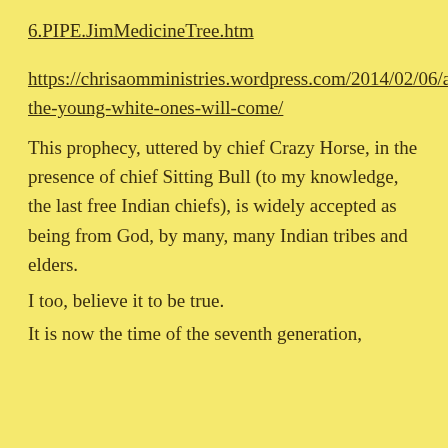6.PIPE.JimMedicineTree.htm
https://chrisaomministries.wordpress.com/2014/02/06/and-the-young-white-ones-will-come/
This prophecy, uttered by chief Crazy Horse, in the presence of chief Sitting Bull (to my knowledge, the last free Indian chiefs), is widely accepted as being from God, by many, many Indian tribes and elders.
I too, believe it to be true.
It is now the time of the seventh generation,